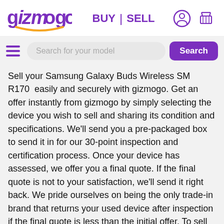gizmogo BUY | SELL
Search for your model
Sell your Samsung Galaxy Buds Wireless SM R170  easily and securely with gizmogo. Get an offer instantly from gizmogo by simply selecting the device you wish to sell and sharing its condition and specifications. We'll send you a pre-packaged box to send it in for our 30-point inspection and certification process. Once your device has assessed, we offer you a final quote. If the final quote is not to your satisfaction, we'll send it right back. We pride ourselves on being the only trade-in brand that returns your used device after inspection if the final quote is less than the initial offer. To sell your Samsung Galaxy Buds Wireless SM R170, you have to select your device's condition and send it to us for the inspection. Don't forget, if your current device lacks functionality to perform, selling or trading in your used device on gizmogo is a great